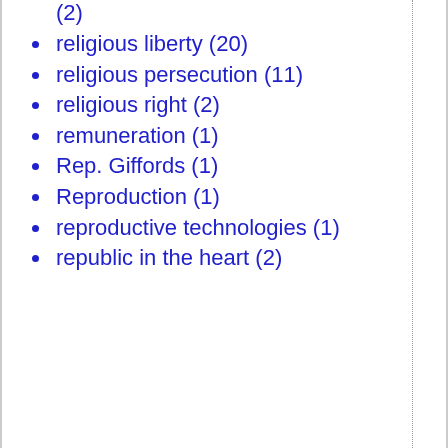(2)
religious liberty (20)
religious persecution (11)
religious right (2)
remuneration (1)
Rep. Giffords (1)
Reproduction (1)
reproductive technologies (1)
republic in the heart (2)